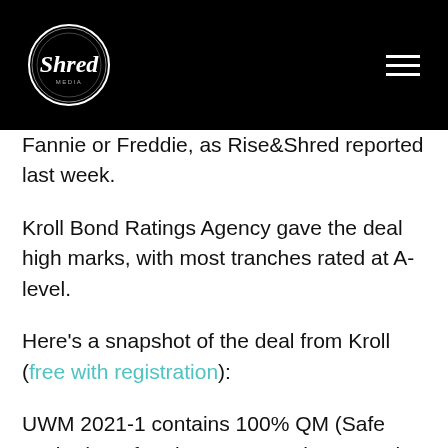[Figure (logo): Shred Media logo in a circle on black header bar with hamburger menu icon]
Fannie or Freddie, as Rise&Shred reported last week.
Kroll Bond Ratings Agency gave the deal high marks, with most tranches rated at A-level.
Here's a snapshot of the deal from Kroll (free with registration):
UWM 2021-1 contains 100% QM (Safe Harbor) conforming mortgage loans, and no loans in this pool are in active forbearance as of the cut-off